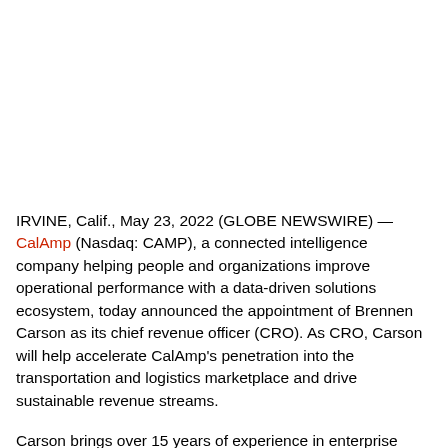IRVINE, Calif., May 23, 2022 (GLOBE NEWSWIRE) — CalAmp (Nasdaq: CAMP), a connected intelligence company helping people and organizations improve operational performance with a data-driven solutions ecosystem, today announced the appointment of Brennen Carson as its chief revenue officer (CRO). As CRO, Carson will help accelerate CalAmp's penetration into the transportation and logistics marketplace and drive sustainable revenue streams.
Carson brings over 15 years of experience in enterprise...